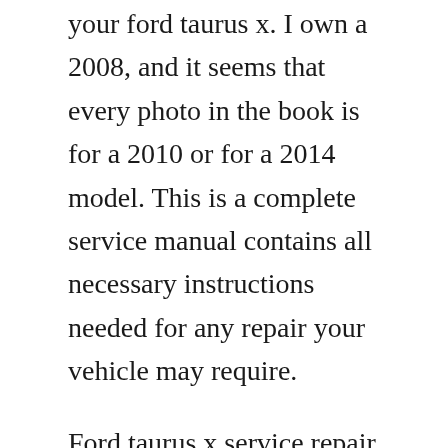your ford taurus x. I own a 2008, and it seems that every photo in the book is for a 2010 or for a 2014 model. This is a complete service manual contains all necessary instructions needed for any repair your vehicle may require.
Ford taurus x service repair manual 20082009 automotive. Find your 2008 ford taurus owner manual, and warranty here. Ford taurus the ford freestyle was midsize crossover suv which was introduced in 2004 by ford motor company. New listing 2008 ford taurus mercury sable service. Ford taurus x and 2008